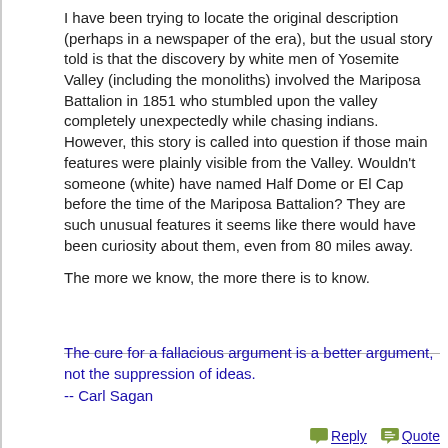I have been trying to locate the original description (perhaps in a newspaper of the era), but the usual story told is that the discovery by white men of Yosemite Valley (including the monoliths) involved the Mariposa Battalion in 1851 who stumbled upon the valley completely unexpectedly while chasing indians. However, this story is called into question if those main features were plainly visible from the Valley. Wouldn't someone (white) have named Half Dome or El Cap before the time of the Mariposa Battalion? They are such unusual features it seems like there would have been curiosity about them, even from 80 miles away.

The more we know, the more there is to know.
The cure for a fallacious argument is a better argument, not the suppression of ideas.
-- Carl Sagan